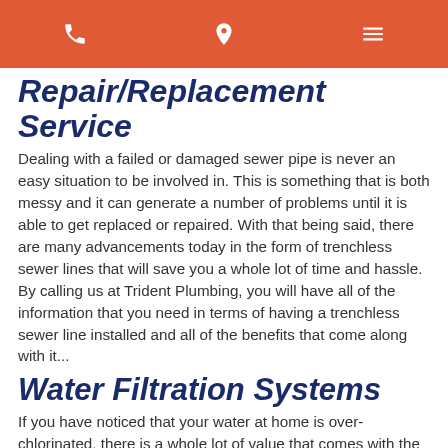[navigation bar with phone, location, and menu icons]
Repair/Replacement Service
Dealing with a failed or damaged sewer pipe is never an easy situation to be involved in. This is something that is both messy and it can generate a number of problems until it is able to get replaced or repaired. With that being said, there are many advancements today in the form of trenchless sewer lines that will save you a whole lot of time and hassle. By calling us at Trident Plumbing, you will have all of the information that you need in terms of having a trenchless sewer line installed and all of the benefits that come along with it...
Water Filtration Systems
If you have noticed that your water at home is over-chlorinated, there is a whole lot of value that comes with the installation of one of the whole home water filtration systems. No matter the size of your home or what your needs or wants may be when it comes to water filtration,